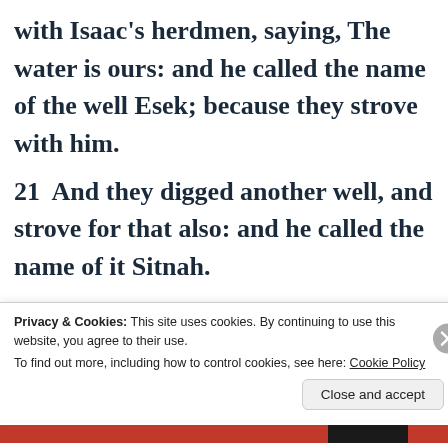with Isaac's herdmen, saying, The water is ours: and he called the name of the well Esek; because they strove with him. 21 And they digged another well, and strove for that also: and he called the name of it Sitnah. 22 And he removed from thence, and digged another well: and for that they
Privacy & Cookies: This site uses cookies. By continuing to use this website, you agree to their use.
To find out more, including how to control cookies, see here: Cookie Policy
Close and accept